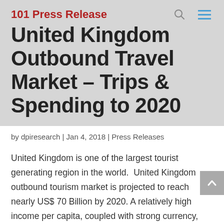101 Press Release
United Kingdom Outbound Travel Market – Trips & Spending to 2020
by dpiresearch | Jan 4, 2018 | Press Releases
United Kingdom is one of the largest tourist generating region in the world.  United Kingdom outbound tourism market is projected to reach nearly US$ 70 Billion by 2020. A relatively high income per capita, coupled with strong currency, making UK one of the top five spenders on